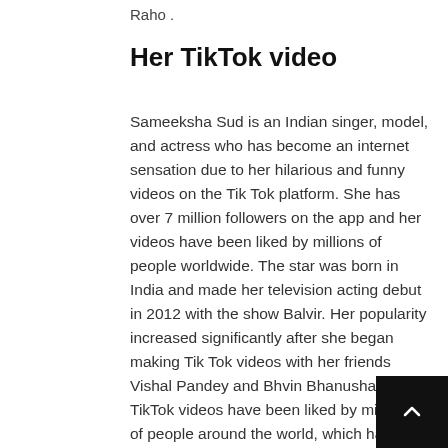Raho .
Her TikTok video
Sameeksha Sud is an Indian singer, model, and actress who has become an internet sensation due to her hilarious and funny videos on the Tik Tok platform. She has over 7 million followers on the app and her videos have been liked by millions of people worldwide. The star was born in India and made her television acting debut in 2012 with the show Balvir. Her popularity increased significantly after she began making Tik Tok videos with her friends Vishal Pandey and Bhvin Bhanushali. Her TikTok videos have been liked by millions of people around the world, which has increased her fan base to unimaginable level.